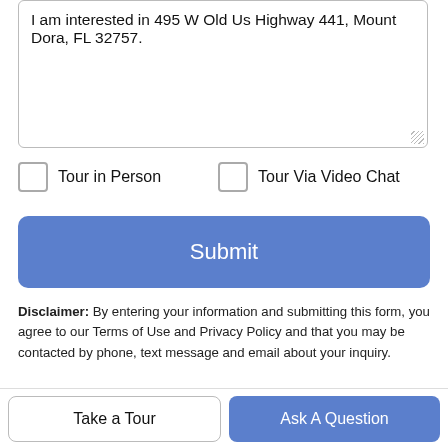I am interested in 495 W Old Us Highway 441, Mount Dora, FL 32757.
Tour in Person
Tour Via Video Chat
Submit
Disclaimer: By entering your information and submitting this form, you agree to our Terms of Use and Privacy Policy and that you may be contacted by phone, text message and email about your inquiry.
© 2022 My Florida Regional MLS DBA Stellar MLS. All rights reserved. All listings displayed pursuant to
Take a Tour
Ask A Question